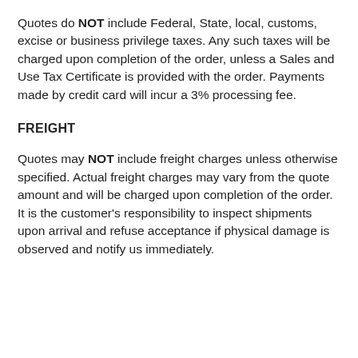Quotes do NOT include Federal, State, local, customs, excise or business privilege taxes. Any such taxes will be charged upon completion of the order, unless a Sales and Use Tax Certificate is provided with the order. Payments made by credit card will incur a 3% processing fee.
FREIGHT
Quotes may NOT include freight charges unless otherwise specified. Actual freight charges may vary from the quote amount and will be charged upon completion of the order. It is the customer's responsibility to inspect shipments upon arrival and refuse acceptance if physical damage is observed and notify us immediately.